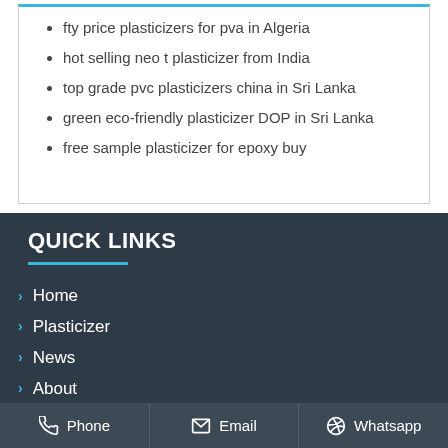fty price plasticizers for pva in Algeria
hot selling neo t plasticizer from India
top grade pvc plasticizers china in Sri Lanka
green eco-friendly plasticizer DOP in Sri Lanka
free sample plasticizer for epoxy buy
QUICK LINKS
Home
Plasticizer
News
About
Contact
Phone   Email   Whatsapp